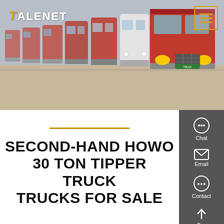[Figure (photo): A row of red and white heavy-duty trucks/semi-trailer trucks parked in a lot, viewed from the front-right angle, with a grey sky background. The fleet of trucks fills the frame.]
TALENET
SECOND-HAND HOWO 30 TON TIPPER TRUCK TRUCKS FOR SALE